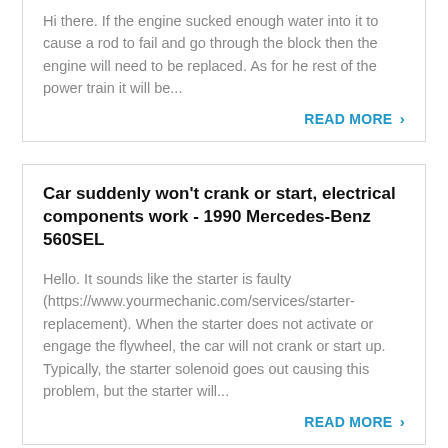Hi there. If the engine sucked enough water into it to cause a rod to fail and go through the block then the engine will need to be replaced. As for he rest of the power train it will be...
READ MORE >
Car suddenly won't crank or start, electrical components work - 1990 Mercedes-Benz 560SEL
Hello. It sounds like the starter is faulty (https://www.yourmechanic.com/services/starter-replacement). When the starter does not activate or engage the flywheel, the car will not crank or start up. Typically, the starter solenoid goes out causing this problem, but the starter will...
READ MORE >
Car stalls after longer trips